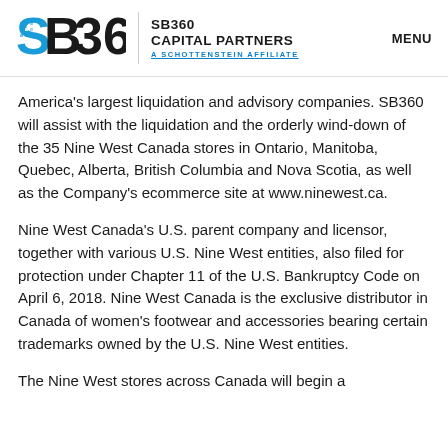[Figure (logo): SB360 Capital Partners logo with 'A Schottenstein Affiliate' tagline and MENU navigation link]
America's largest liquidation and advisory companies. SB360 will assist with the liquidation and the orderly wind-down of the 35 Nine West Canada stores in Ontario, Manitoba, Quebec, Alberta, British Columbia and Nova Scotia, as well as the Company's ecommerce site at www.ninewest.ca.
Nine West Canada's U.S. parent company and licensor, together with various U.S. Nine West entities, also filed for protection under Chapter 11 of the U.S. Bankruptcy Code on April 6, 2018. Nine West Canada is the exclusive distributor in Canada of women's footwear and accessories bearing certain trademarks owned by the U.S. Nine West entities.
The Nine West stores across Canada will begin a